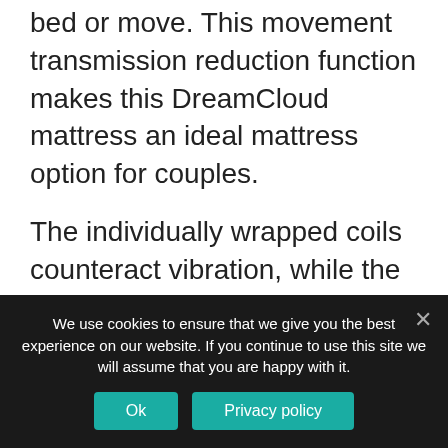bed or move. This movement transmission reduction function makes this DreamCloud mattress an ideal mattress option for couples.
The individually wrapped coils counteract vibration, while the supportive foam layer considerably minimizes movement feeling throughout the bed mattress. Combine this with the cutting-edge air flow cooling innovation, and you have actually got among the comfiest and helpful mattresses to sleep
We use cookies to ensure that we give you the best experience on our website. If you continue to use this site we will assume that you are happy with it.